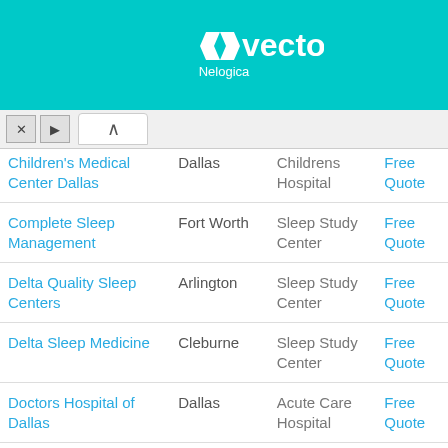[Figure (logo): Vector Nelogica logo on teal/cyan background]
| Name | City | Type | Action |
| --- | --- | --- | --- |
| Children's Medical Center Dallas | Dallas | Childrens Hospital | Free Quote |
| Complete Sleep Management | Fort Worth | Sleep Study Center | Free Quote |
| Delta Quality Sleep Centers | Arlington | Sleep Study Center | Free Quote |
| Delta Sleep Medicine | Cleburne | Sleep Study Center | Free Quote |
| Doctors Hospital of Dallas | Dallas | Acute Care Hospital | Free Quote |
| Dsm Partners | Richardson | Sleep Study Center | Free Quote |
| Global Sleep | Irving | Sleep Study Center | Free Quote |